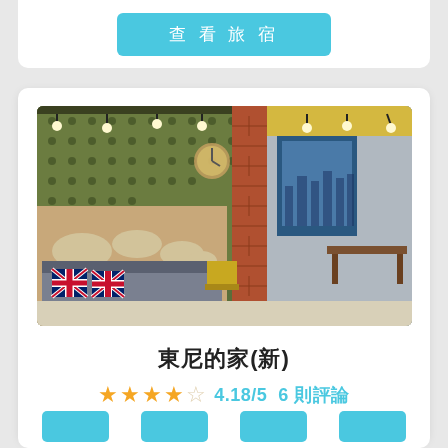查看旅宿
[Figure (photo): Interior of a hostel common area with British flag pillows on a sofa, world map wall art, brick column, track lighting, and a dining/kitchen area visible on the right.]
東尼的家(新)
4.18/5  6 則評論
宜蘭